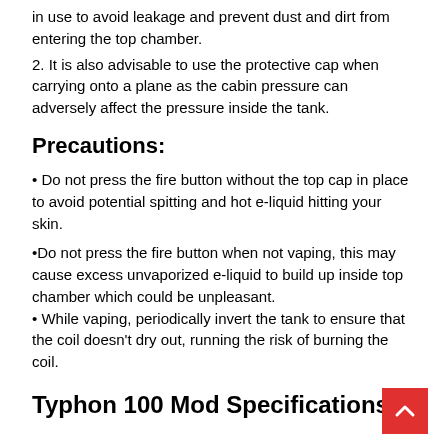in use to avoid leakage and prevent dust and dirt from entering the top chamber.
2. It is also advisable to use the protective cap when carrying onto a plane as the cabin pressure can adversely affect the pressure inside the tank.
Precautions:
• Do not press the fire button without the top cap in place to avoid potential spitting and hot e-liquid hitting your skin.
•Do not press the fire button when not vaping, this may cause excess unvaporized e-liquid to build up inside top chamber which could be unpleasant.
• While vaping, periodically invert the tank to ensure that the coil doesn't dry out, running the risk of burning the coil.
Typhon 100 Mod Specifications